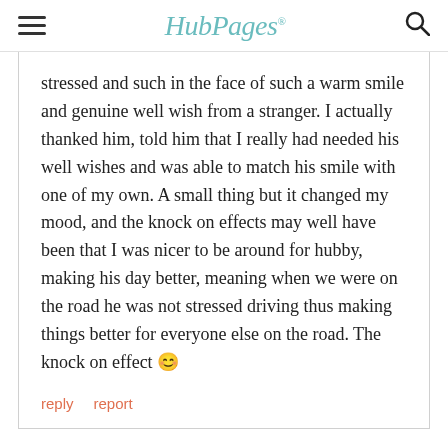HubPages
stressed and such in the face of such a warm smile and genuine well wish from a stranger. I actually thanked him, told him that I really had needed his well wishes and was able to match his smile with one of my own. A small thing but it changed my mood, and the knock on effects may well have been that I was nicer to be around for hubby, making his day better, meaning when we were on the road he was not stressed driving thus making things better for everyone else on the road. The knock on effect 🙂
reply   report